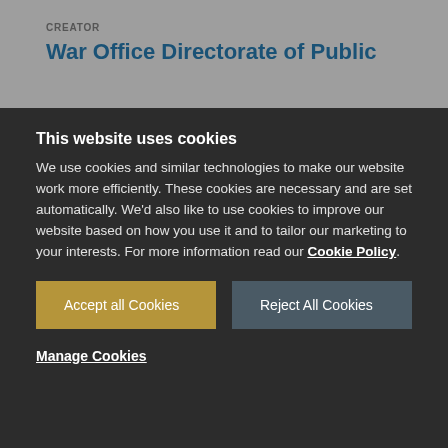CREATOR
War Office Directorate of Public
This website uses cookies
We use cookies and similar technologies to make our website work more efficiently. These cookies are necessary and are set automatically. We'd also like to use cookies to improve our website based on how you use it and to tailor our marketing to your interests. For more information read our Cookie Policy.
Accept all Cookies
Reject All Cookies
Manage Cookies